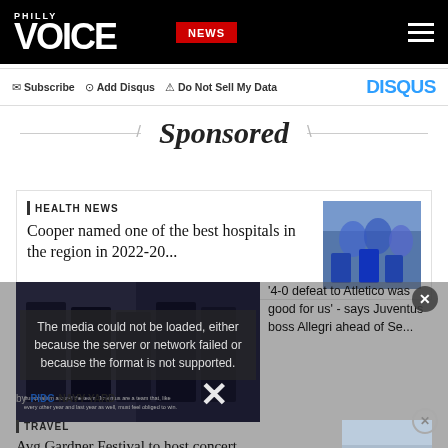PHILLY VOICE | NEWS
Subscribe  Add Disqus  Do Not Sell My Data  DISQUS
Sponsored
HEALTH NEWS
Cooper named one of the best hospitals in the region in 2022-20...
[Figure (photo): Surgeons in blue scrubs operating]
[Figure (screenshot): Video player showing Juventus press conference with error message: The media could not be loaded, either because the server or network failed or because the format is not supported.]
'4-0 defeat to Atletico was good for us' - says Juventus boss Allegri ahead of Se...
[Figure (logo): PIDC Navy Yard logo]
TRAVEL
Avg Gardner Festival to host concert...